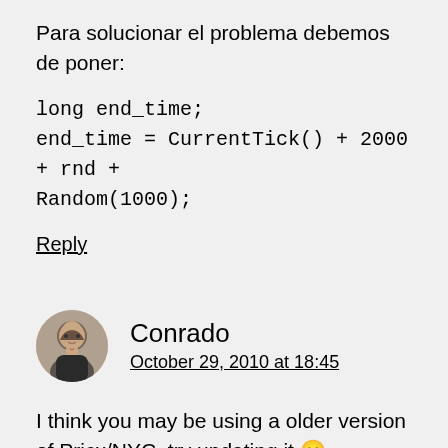Para solucionar el problema debemos de poner:
long end_time;
end_time = CurrentTick() + 2000 + rnd + Random(1000);
Reply
Conrado
October 29, 2010 at 18:45
I think you may be using a older version of Pricx/NYC, try updating it 🙁